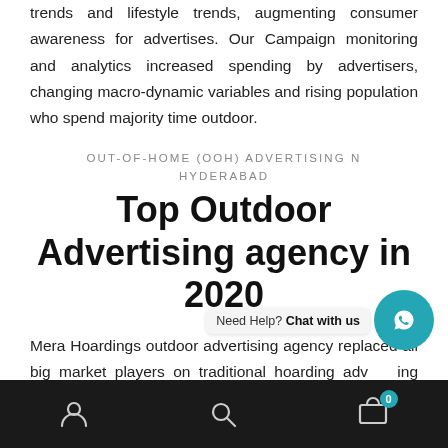trends and lifestyle trends, augmenting consumer awareness for advertises. Our Campaign monitoring and analytics increased spending by advertisers, changing macro-dynamic variables and rising population who spend majority time outdoor.
OUT-OF-HOME (OOH) ADVERTISING N HYDERABAD
Top Outdoor Advertising agency in 2020
Mera Hoardings outdoor advertising agency replaced all big market players on traditional hoarding advertising companies like prakash  e  r advertising.
Navigation bar with account, search, and cart (0) icons